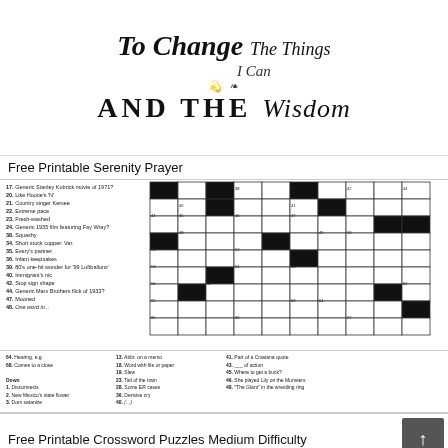[Figure (illustration): Decorative Serenity Prayer typographic art showing 'To Change The Things I Can AND THE Wisdom' in mixed script and bold fonts with decorative flourishes]
Free Printable Serenity Prayer
[Figure (other): Free Printable Crossword Puzzle Medium Difficulty - showing a partially visible crossword grid on the right and clue lists on the left and bottom, with clues numbered 17-49 on left side and columns of additional clues at bottom]
Free Printable Crossword Puzzles Medium Difficulty
[Figure (illustration): Partially visible bottom image showing illustrated characters/cartoon figures]